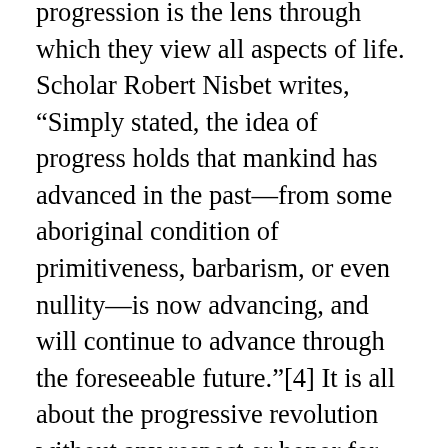progression is the lens through which they view all aspects of life. Scholar Robert Nisbet writes, “Simply stated, the idea of progress holds that mankind has advanced in the past—from some aboriginal condition of primitiveness, barbarism, or even nullity—is now advancing, and will continue to advance through the foreseeable future.”[4] It is all about the progressive revolution without any respect or honor for the past, or how humanity got here. The past is viewed as antiquated, misguided, even prejudicial. We have seen how this has ruined governments and societies on a global scale.
This has been detrimental to the educational community: “Developmentalism is an